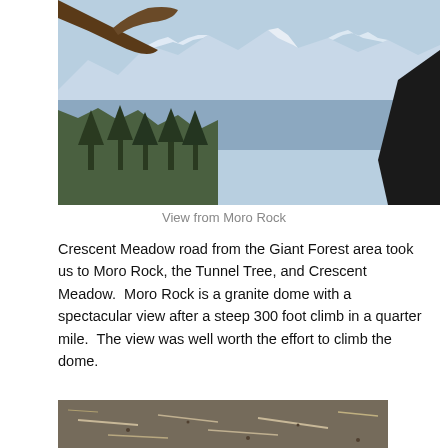[Figure (photo): Mountain view from Moro Rock showing snow-capped peaks, a valley, evergreen trees, and part of a log in the foreground, with dark rock visible at right.]
View from Moro Rock
Crescent Meadow road from the Giant Forest area took us to Moro Rock, the Tunnel Tree, and Crescent Meadow.  Moro Rock is a granite dome with a spectacular view after a steep 300 foot climb in a quarter mile.  The view was well worth the effort to climb the dome.
[Figure (photo): Close-up ground view of dirt, twigs, and debris on the forest floor.]